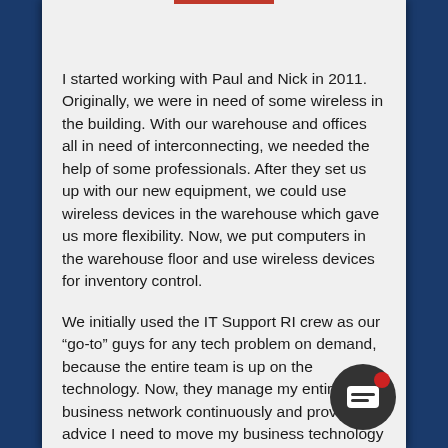[Figure (illustration): Top of a card UI with a red accent bar and circular avatar area at the top]
I started working with Paul and Nick in 2011. Originally, we were in need of some wireless in the building. With our warehouse and offices all in need of interconnecting, we needed the help of some professionals. After they set us up with our new equipment, we could use wireless devices in the warehouse which gave us more flexibility. Now, we put computers in the warehouse floor and use wireless devices for inventory control.
We initially used the IT Support RI crew as our “go-to” guys for any tech problem on demand, because the entire team is up on the technology. Now, they manage my entire business network continuously and provide the advice I need to move my business technology forward. I didn’t want a person here that is devoted to [my IT], I wanted to